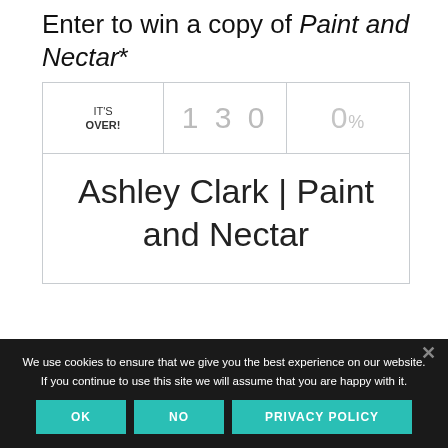Enter to win a copy of Paint and Nectar*
IT'S OVER! | 130 | 0%
Ashley Clark | Paint and Nectar
We use cookies to ensure that we give you the best experience on our website. If you continue to use this site we will assume that you are happy with it.